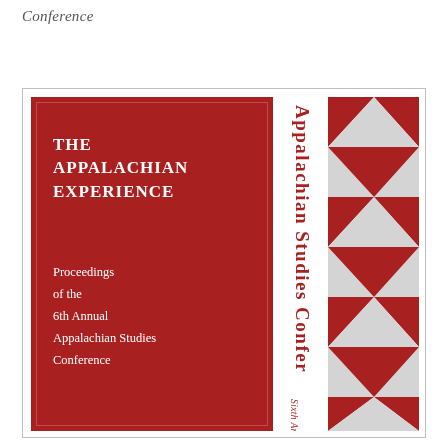Conference
[Figure (illustration): Book cover for 'The Appalachian Experience: Proceedings of the 6th Annual Appalachian Studies Conference'. Features a dark red/crimson left panel with white serif text, a vertical band with 'Appalachian Studies Conference' rotated 90 degrees in red, and a right decorative panel with red and white triangle geometric pattern. Small text reads 'Sixth Annual' near the bottom right.]